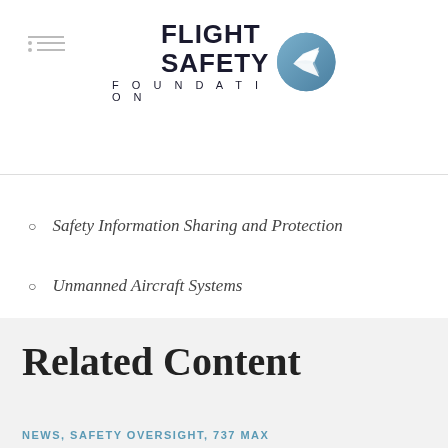[Figure (logo): Flight Safety Foundation logo with circular emblem and text]
Safety Information Sharing and Protection
Unmanned Aircraft Systems
Related Content
NEWS, SAFETY OVERSIGHT, 737 MAX